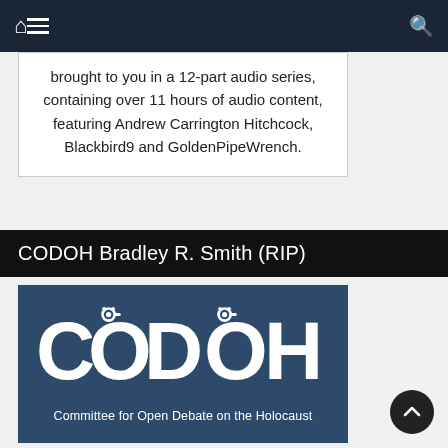Navigation bar with home, menu, and search icons
brought to you in a 12-part audio series, containing over 11 hours of audio content, featuring Andrew Carrington Hitchcock, Blackbird9 and GoldenPipeWrench.
CODOH Bradley R. Smith (RIP)
[Figure (logo): CODOH logo — white text 'CODOH' with handcuff imagery on a dark blue background, subtitle 'Committee for Open Debate on the Holocaust']